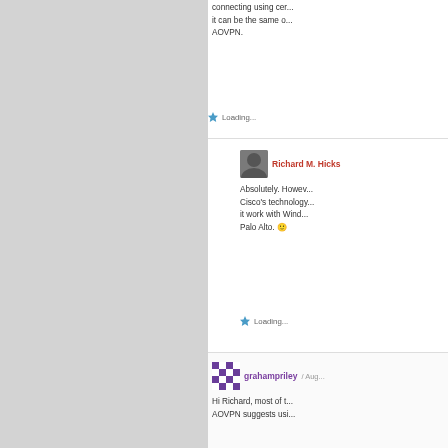connecting using cer... it can be the same o... AOVPN.
Loading...
Richard M. Hicks
Absolutely. Howev... Cisco's technology... it work with Wind... Palo Alto. 🙂
Loading...
grahampriley / Aug...
Hi Richard, most of t... AOVPN suggests usi...